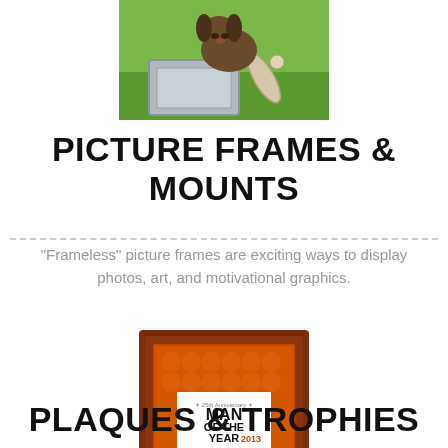[Figure (photo): A dog sitting in front of a metal frame/mailbox on grass, with a rolled document beside it]
PICTURE FRAMES & MOUNTS
"Frameless" picture frames are exciting ways to display photos, art, and motivational graphics.
[Figure (photo): A framed 'Man of the Year 2013 Edward B. Triger' certificate in a decorative orange/brown picture frame]
PLAQUES & TROPHIES